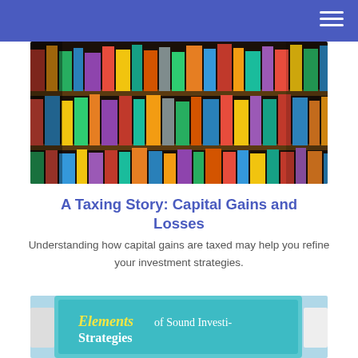[Figure (photo): Close-up photo of colorful books arranged on curved library shelves]
A Taxing Story: Capital Gains and Losses
Understanding how capital gains are taxed may help you refine your investment strategies.
[Figure (photo): Tablet or book showing text 'Elements of Sound Investing Strategies' with blue cover]